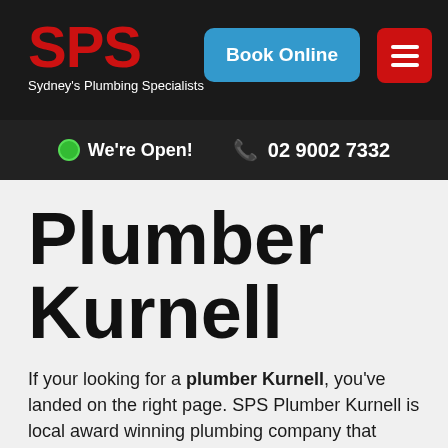SPS Sydney's Plumbing Specialists | Book Online
We're Open!  02 9002 7332
Plumber Kurnell
If your looking for a plumber Kurnell, you've landed on the right page. SPS Plumber Kurnell is local award winning plumbing company that prides itself on being an honest and reliable company.
Choosing the right plumbing company is important